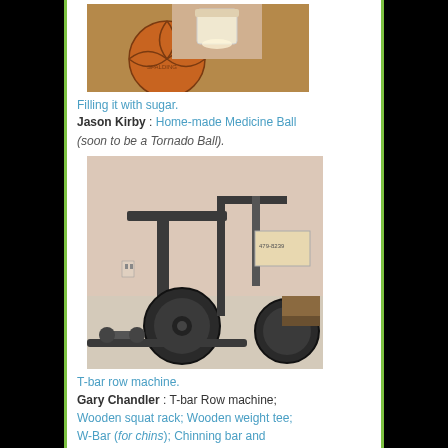[Figure (photo): Close-up photo of hands filling a basketball with sugar using a measuring cup or funnel.]
Filling it with sugar.
Jason Kirby : Home-made Medicine Ball (soon to be a Tornado Ball).
[Figure (photo): Photo of a T-bar row machine in a home gym with weights, barbells, and a squat rack visible.]
T-bar row machine.
Gary Chandler : T-bar Row machine; Wooden squat rack; Wooden weight tee; W-Bar (for chins); Chinning bar and